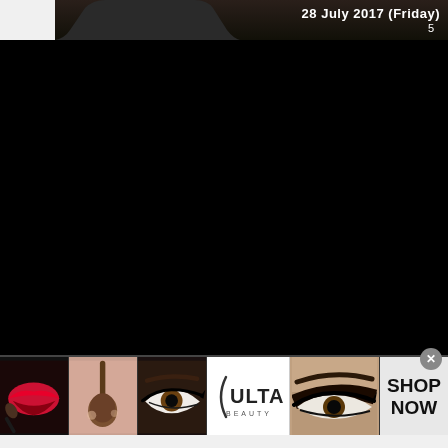28 July 2017 (Friday)
5
[Figure (screenshot): Dark black browser/app screen content area filling majority of the page]
[Figure (infographic): Ulta Beauty advertisement banner showing makeup images (lips, brush, eye), Ulta Beauty logo, eye makeup image, and SHOP NOW call to action]